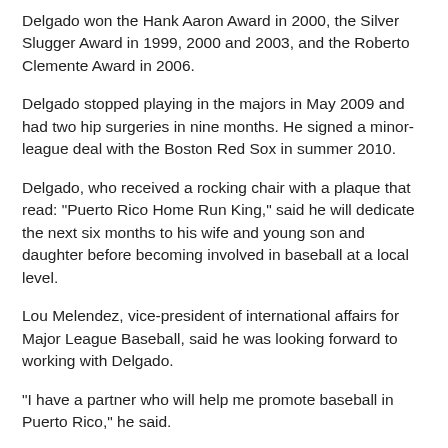Delgado won the Hank Aaron Award in 2000, the Silver Slugger Award in 1999, 2000 and 2003, and the Roberto Clemente Award in 2006.
Delgado stopped playing in the majors in May 2009 and had two hip surgeries in nine months. He signed a minor-league deal with the Boston Red Sox in summer 2010.
Delgado, who received a rocking chair with a plaque that read: "Puerto Rico Home Run King," said he will dedicate the next six months to his wife and young son and daughter before becoming involved in baseball at a local level.
Lou Melendez, vice-president of international affairs for Major League Baseball, said he was looking forward to working with Delgado.
"I have a partner who will help me promote baseball in Puerto Rico," he said.